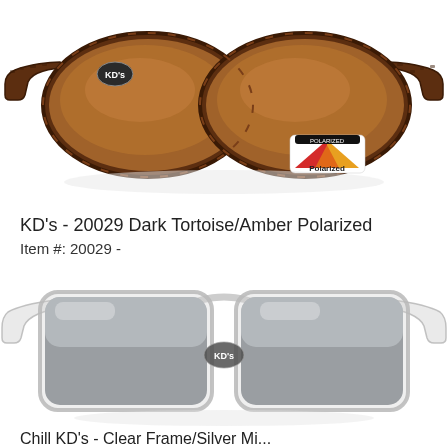[Figure (photo): KD's sunglasses with dark tortoise frame and amber polarized lenses, viewed at a slight angle showing both temples. A colorful 'Polarized' sticker is visible on the right lens. The KD's logo medallion is on the left temple.]
KD's - 20029 Dark Tortoise/Amber Polarized
Item #: 20029 -
[Figure (photo): KD's sunglasses with clear/crystal transparent frame and silver mirror lenses, viewed from the side. The frame has a classic rectangular shape. The KD's logo medallion is visible on the front.]
Chill KD's - Clear Frame/Silver Mi...